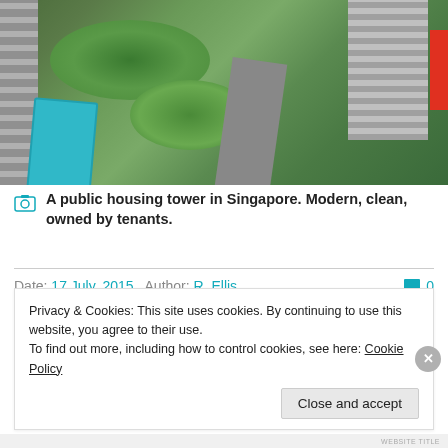[Figure (photo): Aerial view of a public housing tower in Singapore showing green trees, a swimming pool, roads, and buildings]
A public housing tower in Singapore. Modern, clean, owned by tenants.
Date: 17 July, 2015   Author: R. Ellis   0
Affordable housing is one of the foremost issues facing
Privacy & Cookies: This site uses cookies. By continuing to use this website, you agree to their use.
To find out more, including how to control cookies, see here: Cookie Policy